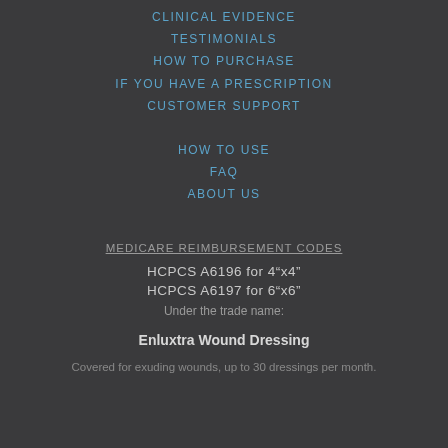CLINICAL EVIDENCE
TESTIMONIALS
HOW TO PURCHASE
IF YOU HAVE A PRESCRIPTION
CUSTOMER SUPPORT
HOW TO USE
FAQ
ABOUT US
MEDICARE REIMBURSEMENT CODES
HCPCS A6196 for  4”x4”
HCPCS A6197 for  6”x6”
Under the trade name:
Enluxtra Wound Dressing
Covered for exuding wounds, up to 30 dressings per month.